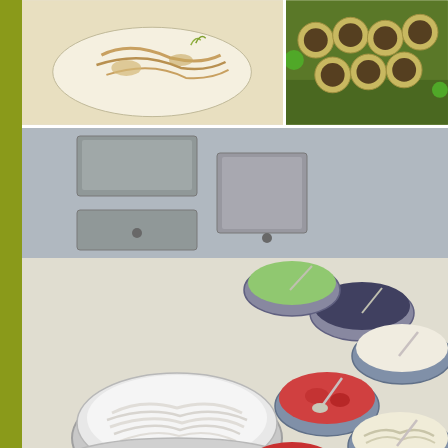[Figure (photo): Food photo collage top-left: plated dish with noodles or fish on white plate]
[Figure (photo): Food photo collage top-right: stuffed vegetables or dumplings on plate]
[Figure (photo): Large middle food photo: buffet noodle station with rice noodles in white bowl and various condiments/toppings in blue-white patterned bowls]
CRIZ BON APPETITE www.crizfood.com
Some of the dishes at the Main Dish Section could be real delectable s... Fried Fish in Cream Sauce, Chicken Roll with Thyme Sauce, Stir Fried I... Ikan Bawal, Gulai Kambing, Mee Goreng Mamak, Rendang Ayam, Pacer... Steamed White Rice.
[Figure (photo): Bottom-left food photo: clay pot dish with meat and garnishes including green onions and chili]
[Figure (photo): Bottom-right food photo: stir-fried vegetables and shrimp dish in wok]